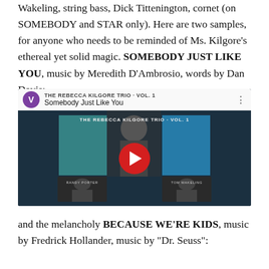Wakeling, string bass, Dick Tittenington, cornet (on SOMEBODY and STAR only). Here are two samples, for anyone who needs to be reminded of Ms. Kilgore's ethereal yet solid magic. SOMEBODY JUST LIKE YOU, music by Meredith D'Ambrosio, words by Dan Davis:
[Figure (screenshot): YouTube video thumbnail for 'Somebody Just Like You' by The Rebecca Kilgore Trio Vol. 1. Shows album cover with photos of Randy Porter and Tom Wakeling, a central figure singing, and a large red YouTube play button overlay.]
and the melancholy BECAUSE WE'RE KIDS, music by Fredrick Hollander, music by "Dr. Seuss":